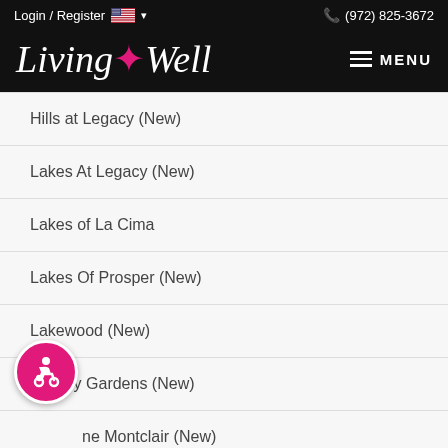Login / Register  (972) 825-3672
Living+Well
Hills at Legacy (New)
Lakes At Legacy (New)
Lakes of La Cima
Lakes Of Prosper (New)
Lakewood (New)
Legacy Gardens (New)
ne Montclair (New)
[Figure (illustration): Accessibility icon button (pink circle with wheelchair user symbol)]